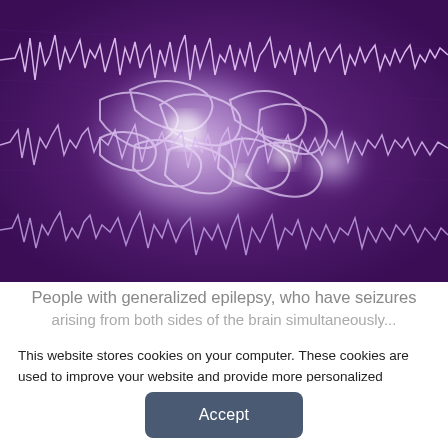[Figure (illustration): Purple-toned illustration of a human brain overlaid with multiple white EEG waveform traces, showing neural activity patterns associated with epilepsy.]
People with generalized epilepsy, who have seizures arising from both sides of the brain simultaneously...
This website stores cookies on your computer. These cookies are used to improve your website and provide more personalized services to you, both on this website and through other media. To find out more about the cookies we use, see our Privacy Policy.